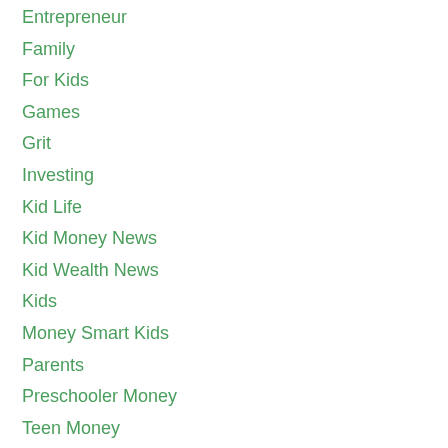Entrepreneur
Family
For Kids
Games
Grit
Investing
Kid Life
Kid Money News
Kid Wealth News
Kids
Money Smart Kids
Parents
Preschooler Money
Teen Money